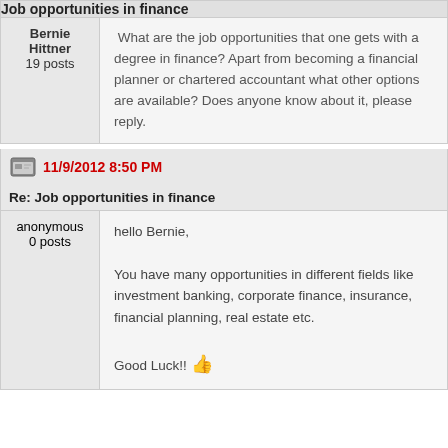Job opportunities in finance
Bernie Hittner
19 posts
What are the job opportunities that one gets with a degree in finance? Apart from becoming a financial planner or chartered accountant what other options are available? Does anyone know about it, please reply.
11/9/2012 8:50 PM
Re: Job opportunities in finance
anonymous
0 posts
hello Bernie,

You have many opportunities in different fields like investment banking, corporate finance, insurance, financial planning, real estate etc.

Good Luck!!